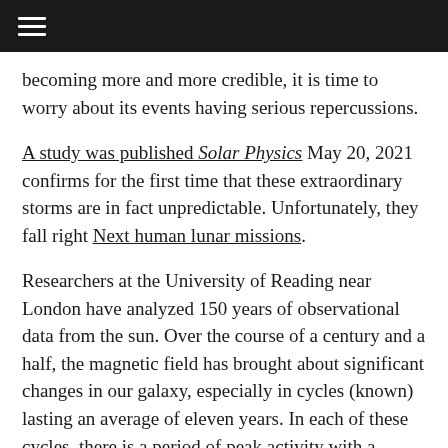≡ [hamburger menu]
becoming more and more credible, it is time to worry about its events having serious repercussions.
A study was published Solar Physics May 20, 2021 confirms for the first time that these extraordinary storms are in fact unpredictable. Unfortunately, they fall right Next human lunar missions.
Researchers at the University of Reading near London have analyzed 150 years of observational data from the sun. Over the course of a century and a half, the magnetic field has brought about significant changes in our galaxy, especially in cycles (known) lasting an average of eleven years. In each of these cycles, there is a period of peak activity with a significant number